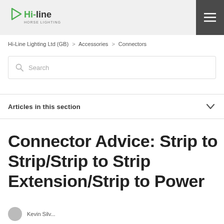[Figure (logo): Hi-Line Horse Lighting logo with green play button icon and green/dark text]
Hi-Line Lighting Ltd (GB)  >  Accessories  >  Connectors
Search
Articles in this section
Connector Advice: Strip to Strip/Strip to Strip Extension/Strip to Power
Kevin Silv...